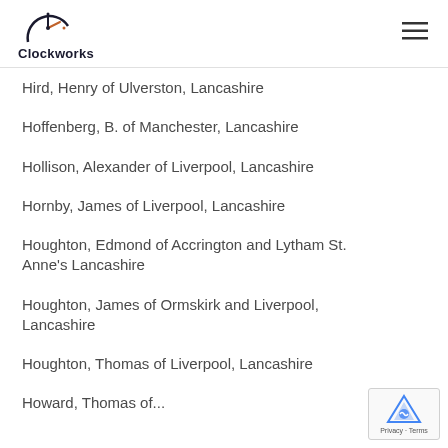Clockworks
Hird, Henry of Ulverston, Lancashire
Hoffenberg, B. of Manchester, Lancashire
Hollison, Alexander of Liverpool, Lancashire
Hornby, James of Liverpool, Lancashire
Houghton, Edmond of Accrington and Lytham St. Anne's Lancashire
Houghton, James of Ormskirk and Liverpool, Lancashire
Houghton, Thomas of Liverpool, Lancashire
Howard, Thomas of...